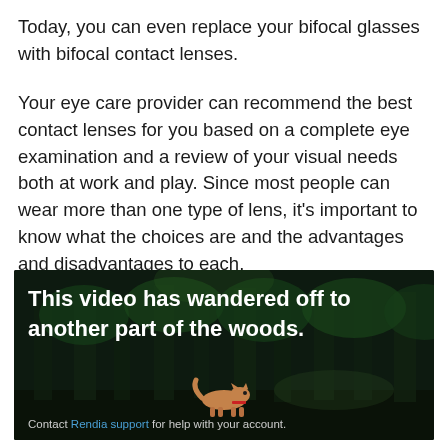Today, you can even replace your bifocal glasses with bifocal contact lenses.
Your eye care provider can recommend the best contact lenses for you based on a complete eye examination and a review of your visual needs both at work and play. Since most people can wear more than one type of lens, it's important to know what the choices are and the advantages and disadvantages to each.
[Figure (screenshot): A video placeholder showing a dark forest scene with a cartoon fox/dog figure. Text overlay reads 'This video has wandered off to another part of the woods.' Footer text reads 'Contact Rendia support for help with your account.']